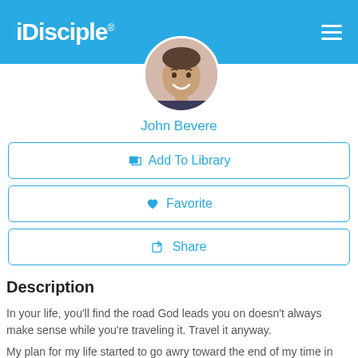iDisciple
[Figure (photo): Circular profile photo of John Bevere, a smiling man]
John Bevere
Add To Library
Favorite
Share
Description
In your life, you'll find the road God leads you on doesn't always make sense while you're traveling it. Travel it anyway.
My plan for my life started to go awry toward the end of my time in